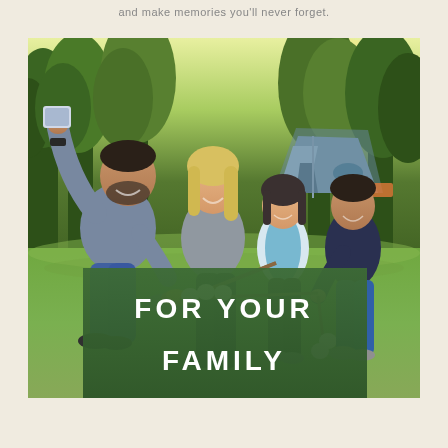and make memories you'll never forget.
[Figure (photo): A family of four taking a selfie outdoors while camping. A bearded man in a gray t-shirt holds up a phone to take the photo. A blonde woman sits next to him smiling. Two children, a girl and a boy, hold marshmallow roasting sticks. A camping tent is visible in the background surrounded by trees.]
FOR YOUR FAMILY